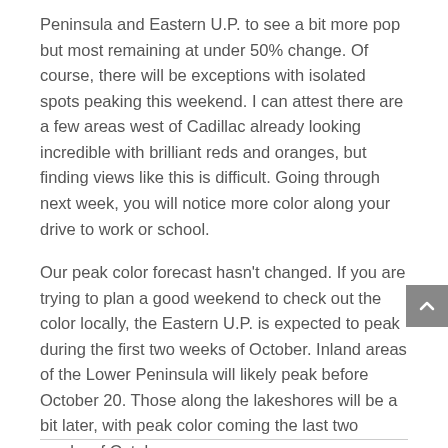Peninsula and Eastern U.P. to see a bit more pop but most remaining at under 50% change. Of course, there will be exceptions with isolated spots peaking this weekend. I can attest there are a few areas west of Cadillac already looking incredible with brilliant reds and oranges, but finding views like this is difficult. Going through next week, you will notice more color along your drive to work or school.
Our peak color forecast hasn't changed. If you are trying to plan a good weekend to check out the color locally, the Eastern U.P. is expected to peak during the first two weeks of October. Inland areas of the Lower Peninsula will likely peak before October 20. Those along the lakeshores will be a bit later, with peak color coming the last two weeks of October.